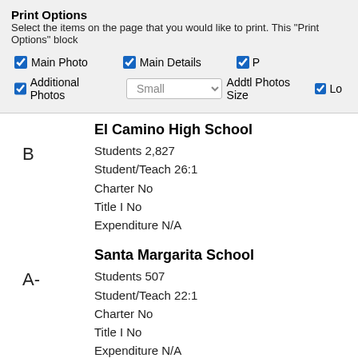Print Options
Select the items on the page that you would like to print. This "Print Options" block
Main Photo | Main Details | Pr | Additional Photos | Small | Addtl Photos Size | Lo
El Camino High School
Students 2,827
Student/Teach 26:1
Charter No
Title I No
Expenditure N/A
B
Santa Margarita School
Students 507
Student/Teach 22:1
Charter No
Title I No
Expenditure N/A
A-